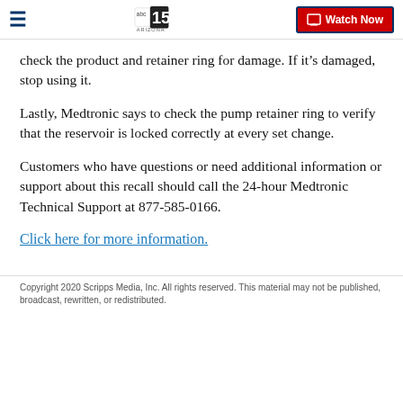abc15 ARIZONA | Watch Now
check the product and retainer ring for damage. If it's damaged, stop using it.
Lastly, Medtronic says to check the pump retainer ring to verify that the reservoir is locked correctly at every set change.
Customers who have questions or need additional information or support about this recall should call the 24-hour Medtronic Technical Support at 877-585-0166.
Click here for more information.
Copyright 2020 Scripps Media, Inc. All rights reserved. This material may not be published, broadcast, rewritten, or redistributed.